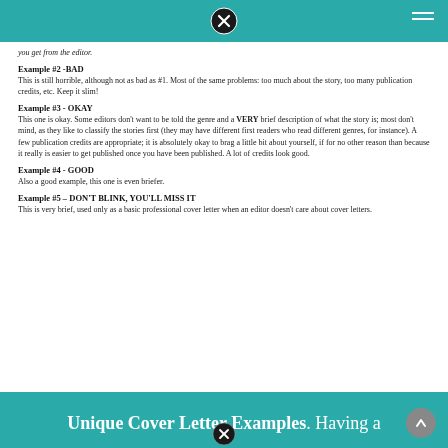you get from the editor.
Example #2 -BAD
This is still horrible, although not as bad as #1. Most of the same problems: too much about the story, too many publication credits, etc. Keep it slim!
Example #3 - OKAY
This one is okay. Some editors don't want to be told the genre and a VERY brief description of what the story is; most don't mind, as they like to classify the stories first (they may have different first readers who read different genres, for instance). A few publication credits are appropriate; it is absolutely okay to brag a little bit about yourself, if for no other reason than because it really is easier to get published once you have been published. A lot of credits look good.
Example #4 - GOOD
Also a good example, this one is even briefer.
Example #5 – DON'T BLINK, YOU'LL MISS IT
This is very brief, used only as a basic professional cover letter when an editor doesn't care about cover letters.
Unique Cover Letter Examples. Having a